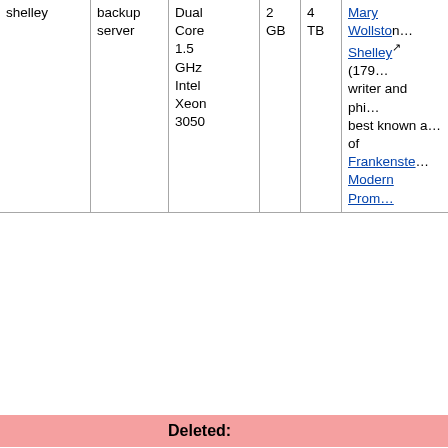| Name | Role | Specs | RAM | Disk | Description |
| --- | --- | --- | --- | --- | --- |
| shelley | backup server | Dual Core 1.5 GHz Intel Xeon 3050 | 2 GB | 4 TB | Mary Wollston… Shelley (179… writer and phi… best known a… of Frankenste… Modern Prom… |
Deleted:
| Name | Role | Specs | Description |
| --- | --- | --- | --- |
| tango | samba server | Xen virtual machine on HA cluster | The tango is a… Argentina that's a… different from the… samba. |
| Name | Role | Specs | Description |
| --- | --- | --- | --- |
| sullivan | mailing-list server | Xen virtual machine on HA cluster | Take y… F… S… w… |